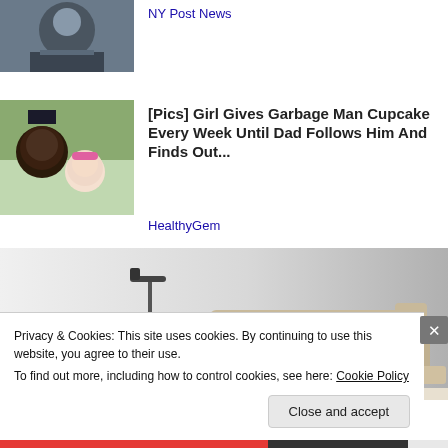[Figure (photo): Partial photo of a person at a podium with a presidential seal, cropped at top]
NY Post News
[Figure (photo): Photo of a man and a young girl smiling outdoors]
[Pics] Girl Gives Garbage Man Cupcake Every Week Until Dad Follows Him And Finds Out...
HealthyGem
[Figure (photo): Advertisement showing a recliner sofa/furniture with a lamp]
Privacy & Cookies: This site uses cookies. By continuing to use this website, you agree to their use.
To find out more, including how to control cookies, see here: Cookie Policy
Close and accept